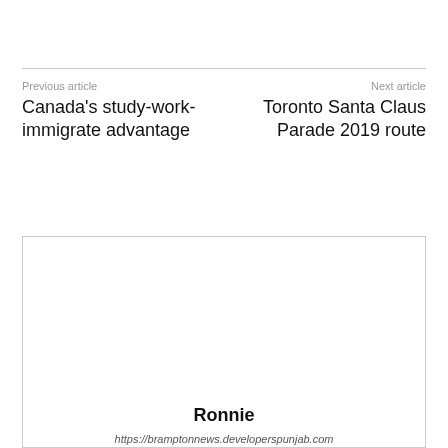Previous article
Canada’s study-work-immigrate advantage
Next article
Toronto Santa Claus Parade 2019 route
Ronnie
https://bramptonnews.developerspunjab.com